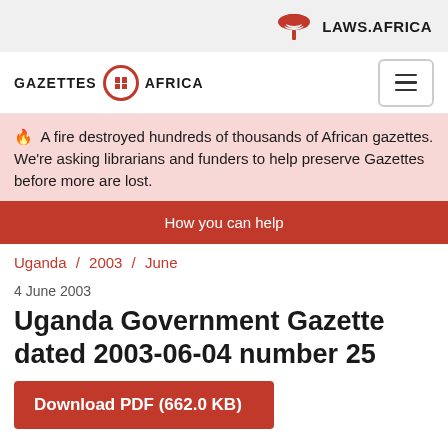LAWS.AFRICA
[Figure (logo): Gazettes Africa logo with red circle icon and text]
🔥 A fire destroyed hundreds of thousands of African gazettes. We're asking librarians and funders to help preserve Gazettes before more are lost.
How you can help
Uganda / 2003 / June
4 June 2003
Uganda Government Gazette dated 2003-06-04 number 25
Download PDF (662.0 KB)